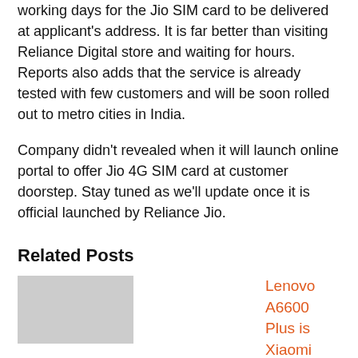working days for the Jio SIM card to be delivered at applicant's address. It is far better than visiting Reliance Digital store and waiting for hours. Reports also adds that the service is already tested with few customers and will be soon rolled out to metro cities in India.
Company didn't revealed when it will launch online portal to offer Jio 4G SIM card at customer doorstep. Stay tuned as we'll update once it is official launched by Reliance Jio.
Related Posts
Lenovo A6600 Plus is Xiaomi Redmi 3S best alternative – Details